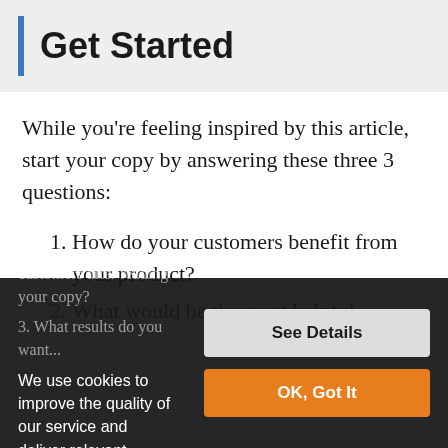Get Started
While you're feeling inspired by this article, start your copy by answering these three 3 questions:
How do your customers benefit from your product?
What would be the most helpful next steps for your customers after reading your copy?
What results do you want...
We use cookies to improve the quality of our service and deliver relevant promotional material.